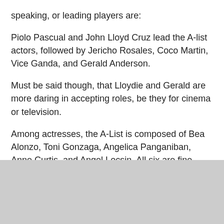speaking, or leading players are:
Piolo Pascual and John Lloyd Cruz lead the A-list actors, followed by Jericho Rosales, Coco Martin, Vice Ganda, and Gerald Anderson.
Must be said though, that Lloydie and Gerald are more daring in accepting roles, be they for cinema or television.
Among actresses, the A-List is composed of Bea Alonzo, Toni Gonzaga, Angelica Panganiban, Anne Curtis, and Angel Locsin. All six are fine drama stars, but Angelica and Toni also excel in comedy.
Surely, these stars made “flonsing” at times, but all players